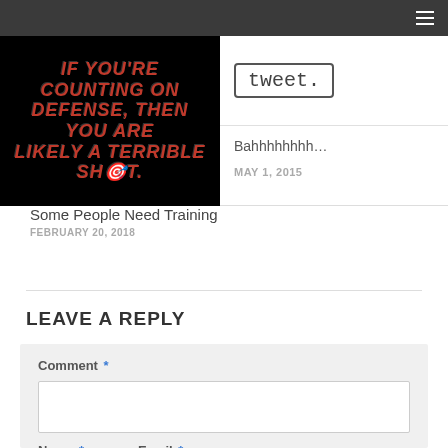Navigation bar with hamburger menu
[Figure (illustration): Dark background image with red and gray bold text: 'IF YOU'RE COUNTING ON DEFENSE, THEN YOU ARE LIKELY A TERRIBLE SHOT.']
[Figure (screenshot): Tweet button graphic showing 'tweet.' in stylized font]
Bahhhhhhhh…
MAY 1, 2015
Some People Need Training
FEBRUARY 20, 2018
LEAVE A REPLY
Comment *
Name *
Email *